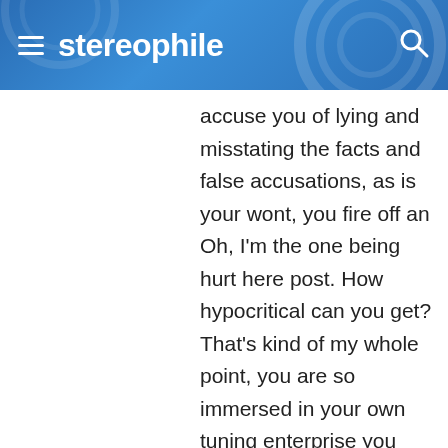stereophile
accuse you of lying and misstating the facts and false accusations, as is your wont, you fire off an Oh, I'm the one being hurt here post. How hypocritical can you get? That's kind of my whole point, you are so immersed in your own tuning enterprise you shrug off and disrespect all other theories or ideas that contradict your own, saying, "Oh, we tried that already, I wasn't keeping a log but I'm